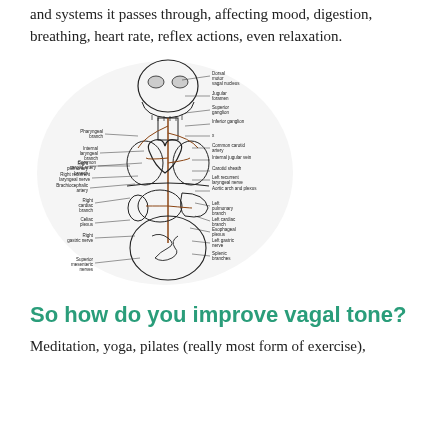and systems it passes through, affecting mood, digestion, breathing, heart rate, reflex actions, even relaxation.
[Figure (illustration): Anatomical diagram of the vagus nerve and its branches throughout the human body, showing labeled structures including pharyngeal branch, internal laryngeal branch, common carotid artery, right recurrent laryngeal nerve, brachiocephalic artery, right pulmonary branch, right cardiac branch, celiac plexus, right gastric nerve, superior mesenteric nerves on the left side; and dorsal motor vagal nucleus, jugular foramen, superior ganglion, inferior ganglion, x, common carotid artery, internal jugular vein, carotid sheath, left recurrent laryngeal nerve, aortic arch and plexus, left pulmonary branch, left cardiac branch, esophageal plexus, left gastric nerve, splenic branches on the right side.]
So how do you improve vagal tone?
Meditation, yoga, pilates (really most form of exercise),